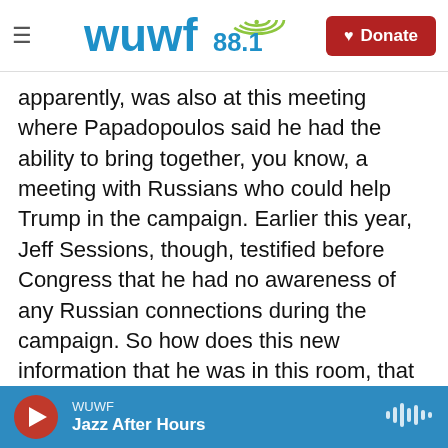WUWF 88.1 | Donate
apparently, was also at this meeting where Papadopoulos said he had the ability to bring together, you know, a meeting with Russians who could help Trump in the campaign. Earlier this year, Jeff Sessions, though, testified before Congress that he had no awareness of any Russian connections during the campaign. So how does this new information that he was in this room, that he knew about this, how does this complicate situation for Jeff Sessions?
KEITH: Well, it certainly complicates things. And whether it becomes a problem for him or not may
WUWF | Jazz After Hours